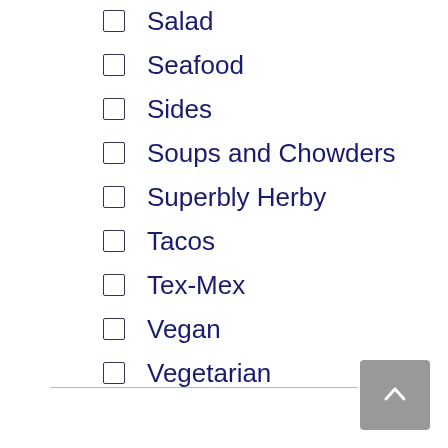Salad
Seafood
Sides
Soups and Chowders
Superbly Herby
Tacos
Tex-Mex
Vegan
Vegetarian